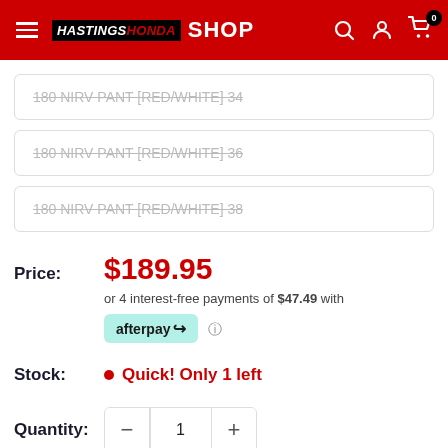HASTINGS HONDA SHOP — navigation header
180 NIRV PANT [RED/WHITE] 34 (strikethrough/unavailable)
180 NIRV PANT [RED/WHITE] 36 (strikethrough/unavailable)
180 NIRV PANT [RED/WHITE] 38 (strikethrough/unavailable)
Price: $189.95
or 4 interest-free payments of $47.49 with afterpay
Stock: Quick! Only 1 left
Quantity: 1